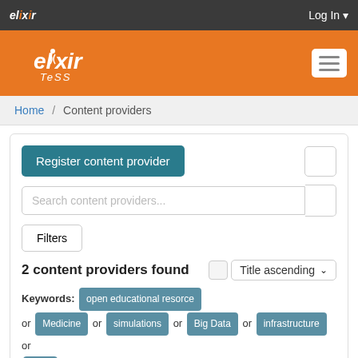elixir   Log In
[Figure (logo): ELIXIR TeSS logo on orange header with hamburger menu button]
Home / Content providers
Register content provider
Search content providers...
Filters
2 content providers found   Title ascending
Keywords: open educational resorce or Medicine or simulations or Big Data or infrastructure or DNA
and
Node: France or United Kingdom